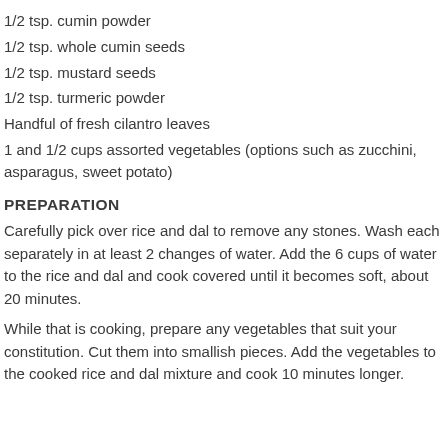1/2 tsp. cumin powder
1/2 tsp. whole cumin seeds
1/2 tsp. mustard seeds
1/2 tsp. turmeric powder
Handful of fresh cilantro leaves
1 and 1/2 cups assorted vegetables (options such as zucchini, asparagus, sweet potato)
PREPARATION
Carefully pick over rice and dal to remove any stones. Wash each separately in at least 2 changes of water. Add the 6 cups of water to the rice and dal and cook covered until it becomes soft, about 20 minutes.
While that is cooking, prepare any vegetables that suit your constitution. Cut them into smallish pieces. Add the vegetables to the cooked rice and dal mixture and cook 10 minutes longer.